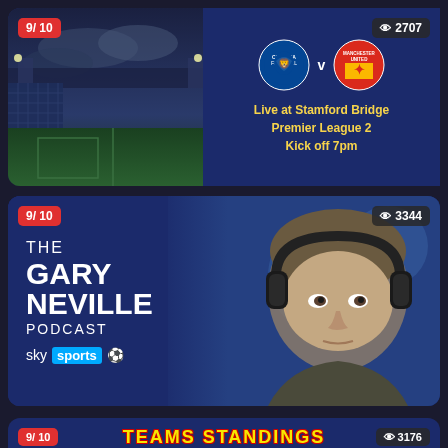[Figure (screenshot): Chelsea vs Manchester United match card with stadium image on left, club logos in center, and match info: Live at Stamford Bridge, Premier League 2, Kick off 7pm. Rating badge 9/10 top-left, views 2707 top-right.]
[Figure (screenshot): The Gary Neville Podcast card with photo of Gary Neville wearing headphones on right, podcast title text on left, Sky Sports logo. Rating badge 9/10 top-left, views 3344 top-right.]
[Figure (screenshot): Partial third card showing TEAMS STANDINGS text in yellow with red outline, rating badge 9/10, views 3176.]